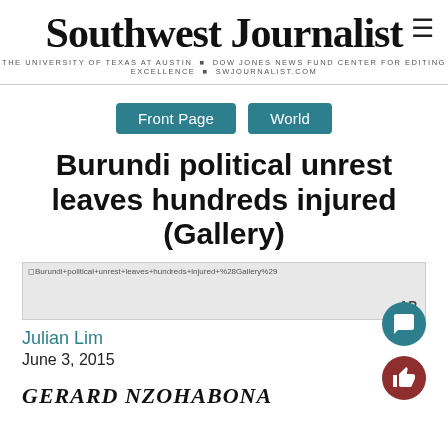Southwest Journalist
THE UNIVERSITY OF TEXAS AT AUSTIN • DOW JONES NEWS FUND CENTER FOR EDITING EXCELLENCE • SWJOURNALIST.COM
Front Page
World
Burundi political unrest leaves hundreds injured (Gallery)
[Figure (photo): Broken image placeholder with alt text: Burundi+political+unrest+leaves+hundreds+injured+%28Gallery%29, with AP credit]
Julian Lim
June 3, 2015
GERARD NZOHABONA